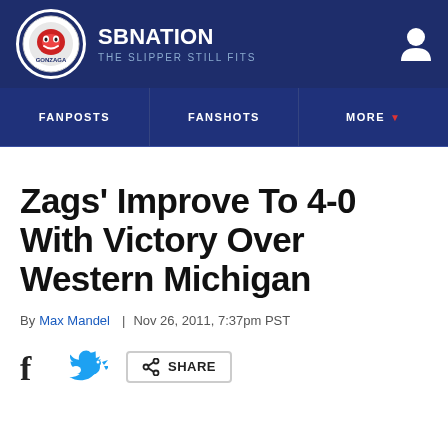SBNATION — THE SLIPPER STILL FITS
FANPOSTS | FANSHOTS | MORE
Zags' Improve To 4-0 With Victory Over Western Michigan
By Max Mandel | Nov 26, 2011, 7:37pm PST
SHARE